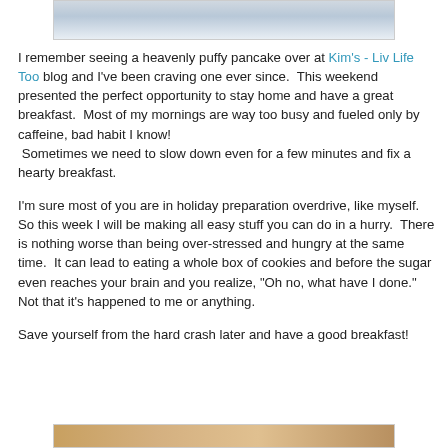[Figure (photo): Top portion of a snowy winter scene photo, partially visible at top of page]
I remember seeing a heavenly puffy pancake over at Kim's - Liv Life Too blog and I've been craving one ever since.  This weekend presented the perfect opportunity to stay home and have a great breakfast.  Most of my mornings are way too busy and fueled only by caffeine, bad habit I know!  Sometimes we need to slow down even for a few minutes and fix a hearty breakfast.
I'm sure most of you are in holiday preparation overdrive, like myself.  So this week I will be making all easy stuff you can do in a hurry.  There is nothing worse than being over-stressed and hungry at the same time.  It can lead to eating a whole box of cookies and before the sugar even reaches your brain and you realize, "Oh no, what have I done."  Not that it's happened to me or anything.
Save yourself from the hard crash later and have a good breakfast!
[Figure (photo): Bottom portion of a food photo, partially visible at bottom of page]